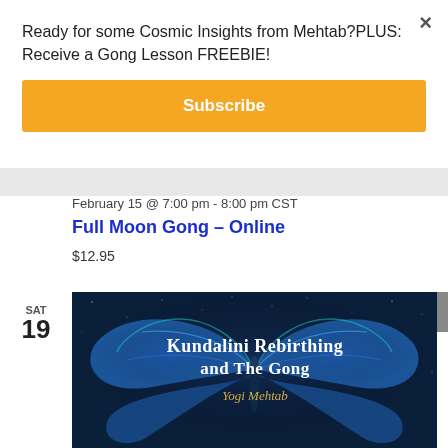Ready for some Cosmic Insights from Mehtab?PLUS: Receive a Gong Lesson FREEBIE!
Subscribe
February 15 @ 7:00 pm - 8:00 pm CST
Full Moon Gong – Online
$12.95
SAT
19
[Figure (photo): Promotional image for Kundalini Rebirthing and The Gong by Yogi Mehtab. Shows a large blue butterfly on a dark blue starry background with white and gold text reading 'Kundalini Rebirthing and The Gong' and 'Yogi Mehtab' in stylized script.]